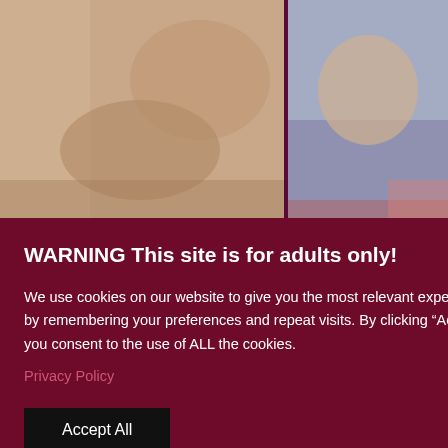[Figure (photo): Adult content thumbnail top left]
[Figure (photo): Adult content thumbnail top right showing gym/fitness setting]
WARNING This site is for adults only!
We use cookies on our website to give you the most relevant experience by remembering your preferences and repeat visits. By clicking “Accept”, you consent to the use of ALL the cookies.
Privacy Policy
Accept All
ainer 2 Scene 2 1
rstal Taylor
91%  15:00
[Figure (photo): Adult content thumbnail bottom right showing gym setting]
inese Girl Fucks
mer In The Gym